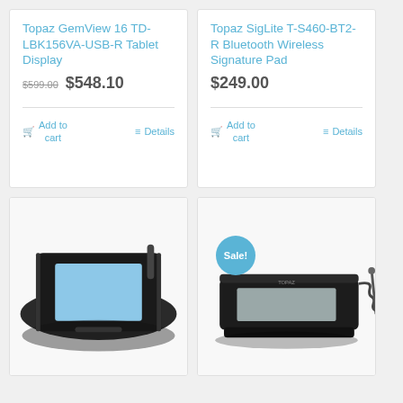Topaz GemView 16 TD-LBK156VA-USB-R Tablet Display
$599.00  $548.10
Add to cart  Details
Topaz SigLite T-S460-BT2-R Bluetooth Wireless Signature Pad
$249.00
Add to cart  Details
[Figure (photo): Black signature pad tablet device with blue-lit display screen and stylus attached via cord - Topaz SigLite product]
[Figure (photo): Black signature pad device with gray LCD display and stylus on coiled cord, with Sale! badge in blue circle - Topaz product]